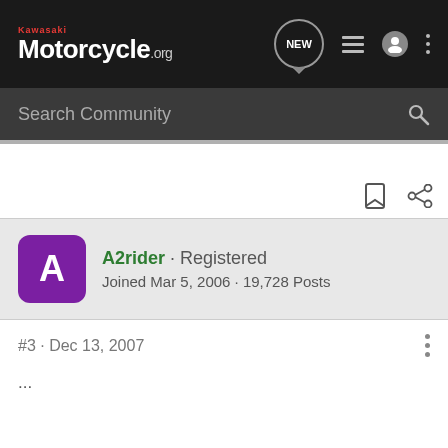Kawasaki Motorcycle.org
Search Community
[Figure (screenshot): Bookmark and share action icons]
A2rider · Registered
Joined Mar 5, 2006 · 19,728 Posts
#3 · Dec 13, 2007
...
"the" Aus
[Figure (photo): Suzuki GSX-S1000GT advertisement banner with motorcycle image and GT logo]